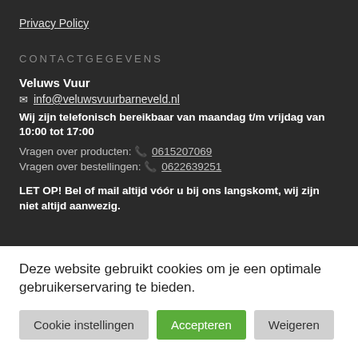Privacy Policy
CONTACTGEGEVENS
Veluws Vuur
info@veluwsvuurbarneveld.nl
Wij zijn telefonisch bereikbaar van maandag t/m vrijdag van 10:00 tot 17:00
Vragen over producten: 0615207069
Vragen over bestellingen: 0622639251
LET OP! Bel of mail altijd vóór u bij ons langskomt, wij zijn niet altijd aanwezig.
Deze website gebruikt cookies om je een optimale gebruikerservaring te bieden.
Cookie instellingen | Accepteren | Weigeren